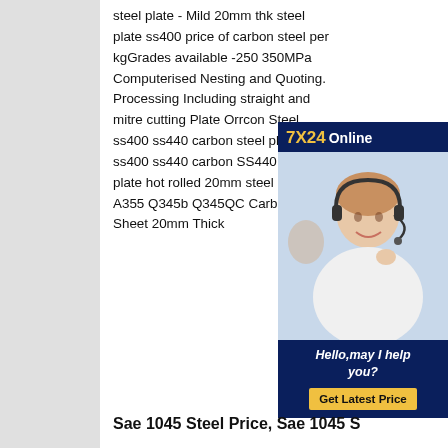steel plate - Mild 20mm thk steel plate ss400 price of carbon steel per kgGrades available -250 350MPa Computerised Nesting and Quoting. Processing Including straight and mitre cutting Plate Orrcon Steel ss400 ss440 carbon steel plate , ss400 ss440 carbon SS440 steel plate hot rolled 20mm steel plate A355 Q345b Q345QC Carbon Steel Sheet 20mm Thick
[Figure (photo): Customer service representative advertisement with '7X24 Online' header, photo of woman with headset, 'Hello, may I help you?' text, and 'Get Latest Price' button]
Sae 1045 Steel Price, Sae 1045 S...
Price 20mm thk steel plate ss400 price of carbon steel per kg
Sae 1045 Steel Price - Select high quality Sae 1045 Steel Price products in best price from certified Chinese Sae 1045